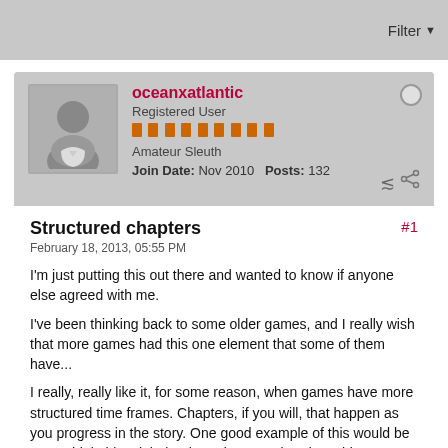Filter ▼
oceanxatlantic
Registered User
Amateur Sleuth
Join Date: Nov 2010  Posts: 132
Structured chapters
#1
February 18, 2013, 05:55 PM
I'm just putting this out there and wanted to know if anyone else agreed with me.
I've been thinking back to some older games, and I really wish that more games had this one element that some of them have...
I really, really like it, for some reason, when games have more structured time frames. Chapters, if you will, that happen as you progress in the story. One good example of this would be FIN. I think this might be the only game that does this, actually. You don't choose when the day ends, rather a day change is triggered when you got to a different point in the plot. Oh, I remember now, SHA does this too, with day and night. Night would be triggered at certain parts of the game.